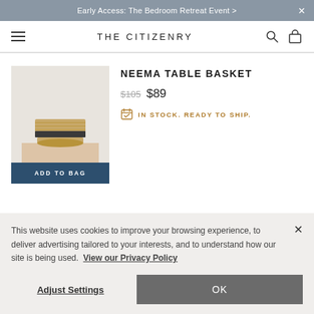Early Access: The Bedroom Retreat Event >
THE CITIZENRY
NEEMA TABLE BASKET
$105 $89
IN STOCK. READY TO SHIP.
[Figure (photo): Woven basket with dark band on light beige background, product photo]
ADD TO BAG
This website uses cookies to improve your browsing experience, to deliver advertising tailored to your interests, and to understand how our site is being used. View our Privacy Policy
Adjust Settings
OK